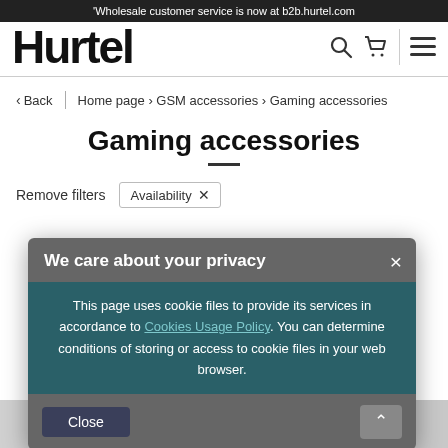Wholesale customer service is now at b2b.hurtel.com
[Figure (screenshot): Hurtel logo in large bold black text with search icon, cart icon, and hamburger menu icon]
< Back | Home page > GSM accessories > Gaming accessories
Gaming accessories
Remove filters   Availability ×
We care about your privacy
This page uses cookie files to provide its services in accordance to Cookies Usage Policy. You can determine conditions of storing or access to cookie files in your web browser.
Close